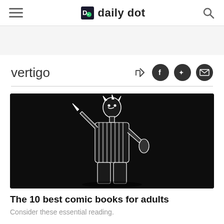daily dot
vertigo
[Figure (photo): Black and white comic book illustration of a muscular figure in a striped suit holding a knife, on a dark background.]
The 10 best comic books for adults
Consider these essential reading.